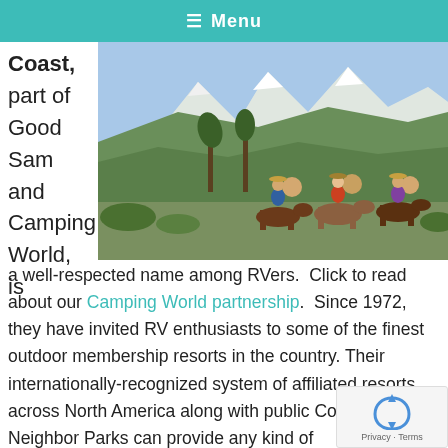≡ Menu
Coast, part of Good Sam and Camping World, is
[Figure (photo): Group of horseback riders on a mountain trail with snow-capped peaks in the background, surrounded by desert vegetation and palm trees.]
a well-respected name among RVers. Click to read about our Camping World partnership. Since 1972, they have invited RV enthusiasts to some of the finest outdoor membership resorts in the country. Their internationally-recognized system of affiliated resorts across North America along with public Coast Good Neighbor Parks can provide any kind of